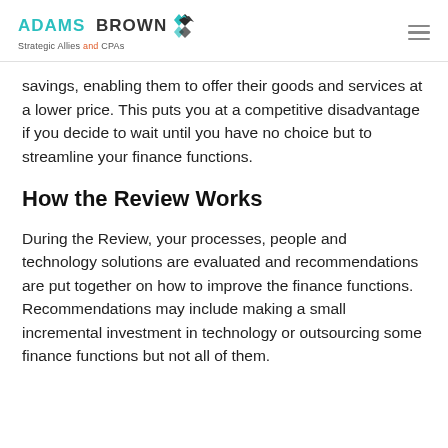ADAMS BROWN Strategic Allies and CPAs
savings, enabling them to offer their goods and services at a lower price. This puts you at a competitive disadvantage if you decide to wait until you have no choice but to streamline your finance functions.
How the Review Works
During the Review, your processes, people and technology solutions are evaluated and recommendations are put together on how to improve the finance functions. Recommendations may include making a small incremental investment in technology or outsourcing some finance functions but not all of them.